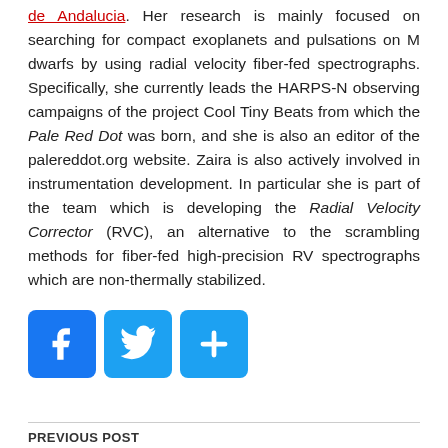de Andalucia. Her research is mainly focused on searching for compact exoplanets and pulsations on M dwarfs by using radial velocity fiber-fed spectrographs. Specifically, she currently leads the HARPS-N observing campaigns of the project Cool Tiny Beats from which the Pale Red Dot was born, and she is also an editor of the palereddot.org website. Zaira is also actively involved in instrumentation development. In particular she is part of the team which is developing the Radial Velocity Corrector (RVC), an alternative to the scrambling methods for fiber-fed high-precision RV spectrographs which are non-thermally stabilized.
[Figure (other): Social sharing icons: Facebook (blue square with f), Twitter (blue square with bird), and a blue square with plus sign]
PREVIOUS POST